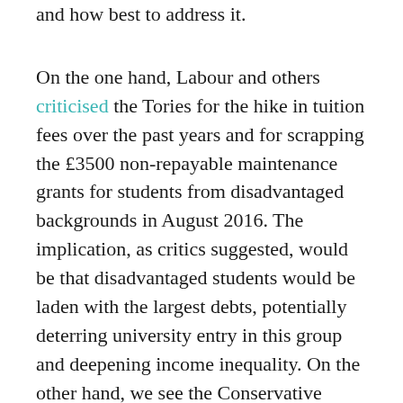and how best to address it.
On the one hand, Labour and others criticised the Tories for the hike in tuition fees over the past years and for scrapping the £3500 non-repayable maintenance grants for students from disadvantaged backgrounds in August 2016. The implication, as critics suggested, would be that disadvantaged students would be laden with the largest debts, potentially deterring university entry in this group and deepening income inequality. On the other hand, we see the Conservative government raving about the current record number of disadvantaged students in higher education and warning that a Brexit in the hands of other parties will ruin this progress. In defending their policies, the Tories seem to focus more on absolute numbers and Labour, Lib-Dems, Greens and UKIP more on the relative...